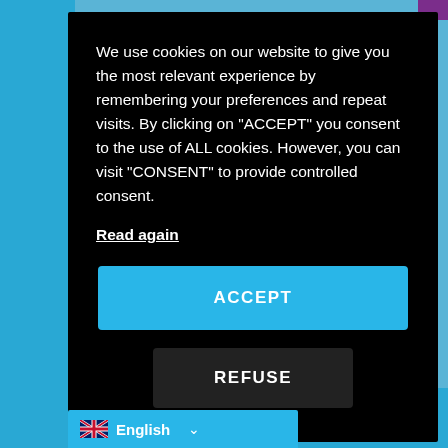We use cookies on our website to give you the most relevant experience by remembering your preferences and repeat visits. By clicking on "ACCEPT" you consent to the use of ALL cookies. However, you can visit "CONSENT" to provide controlled consent.
Read again
ACCEPT
REFUSE
English